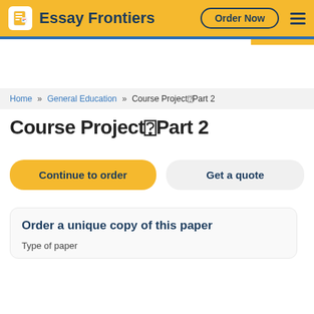Essay Frontiers | Order Now
Home » General Education » Course Project□Part 2
Course Project□Part 2
Continue to order
Get a quote
Order a unique copy of this paper
Type of paper